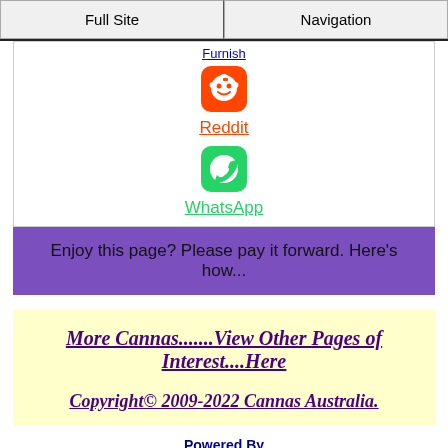Full Site | Navigation
Furnish
[Figure (logo): Reddit orange icon with alien logo]
Reddit
[Figure (logo): WhatsApp green icon with phone logo]
WhatsApp
Enjoy this page? Please pay it forward. Here's how...
More Cannas.......View Other Pages of Interest....Here
Copyright© 2009-2022 Cannas Australia.
Powered By